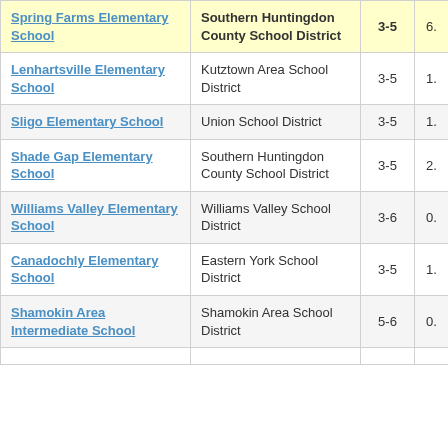| School | District | Grades |  |
| --- | --- | --- | --- |
| Spring Farms Elementary School | Southern Huntingdon County School District | 3-5 | 6. |
| Lenhartsville Elementary School | Kutztown Area School District | 3-5 | 1. |
| Sligo Elementary School | Union School District | 3-5 | 1. |
| Shade Gap Elementary School | Southern Huntingdon County School District | 3-5 | 2. |
| Williams Valley Elementary School | Williams Valley School District | 3-6 | 0. |
| Canadochly Elementary School | Eastern York School District | 3-5 | 1. |
| Shamokin Area Intermediate School | Shamokin Area School District | 5-6 | 0. |